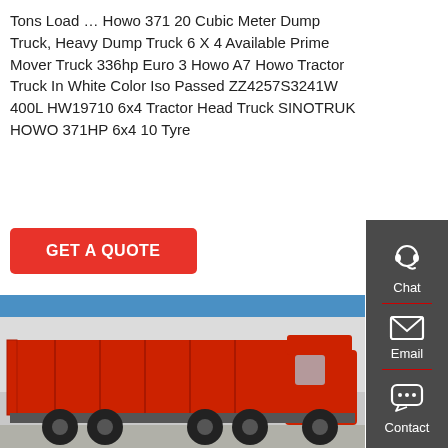Tons Load … Howo 371 20 Cubic Meter Dump Truck, Heavy Dump Truck 6 X 4 Available Prime Mover Truck 336hp Euro 3 Howo A7 Howo Tractor Truck In White Color Iso Passed ZZ4257S3241W 400L HW19710 6x4 Tractor Head Truck SINOTRUK HOWO 371HP 6x4 10 Tyre
GET A QUOTE
[Figure (infographic): Sidebar widget with Chat, Email, and Contact icons on dark grey background]
[Figure (photo): Red Howo dump truck parked in front of industrial building, side profile view]